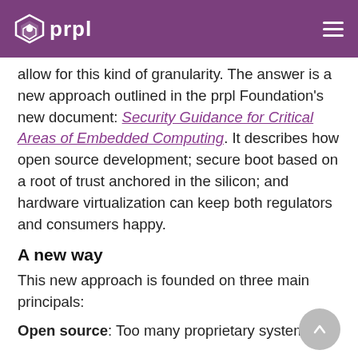prpl
allow for this kind of granularity. The answer is a new approach outlined in the prpl Foundation's new document: Security Guidance for Critical Areas of Embedded Computing. It describes how open source development; secure boot based on a root of trust anchored in the silicon; and hardware virtualization can keep both regulators and consumers happy.
A new way
This new approach is founded on three main principals:
Open source: Too many proprietary systems